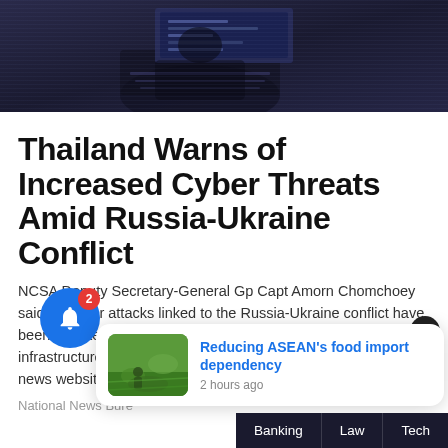[Figure (photo): Dark blue-toned image of a person at a computer, suggesting cyber/hacking context]
Thailand Warns of Increased Cyber Threats Amid Russia-Ukraine Conflict
NCSA Deputy Secretary-General Gp Capt Amorn Chomchoey said 12 cyber attacks linked to the Russia-Ukraine conflict have been reported since January 13, mostly targeting key infrastructures such as banks, border control agencies, and news websites.
National News Bure
[Figure (photo): Thumbnail image of green rice paddy fields with a person working]
Reducing ASEAN's food import dependency
2 hours ago
Banking   Law   Tech